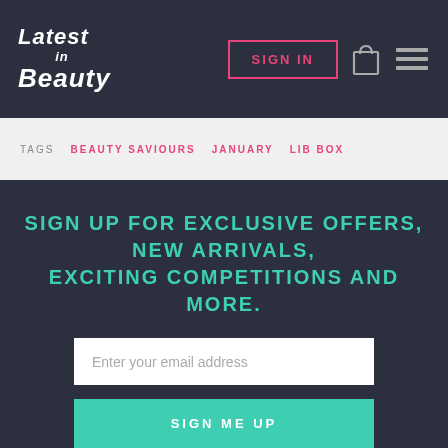Latest in Beauty | SIGN IN
TAGS  BEAUTY SAVIOURS  JANUARY  LIB BOX
SIGN UP FOR EXCLUSIVE OFFERS, NEW ARRIVALS, EXCITING COMPETITIONS AND MORE.
Enter your email address
SIGN ME UP